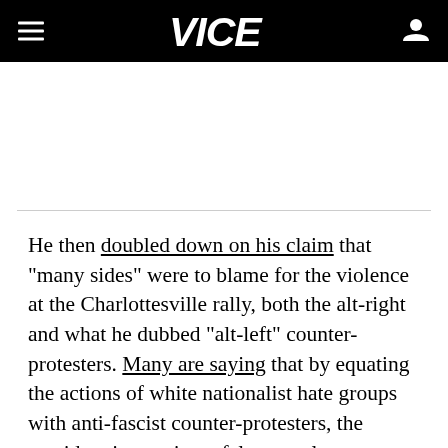VICE
He then doubled down on his claim that "many sides" were to blame for the violence at the Charlottesville rally, both the alt-right and what he dubbed "alt-left" counter-protesters. Many are saying that by equating the actions of white nationalist hate groups with anti-fascist counter-protesters, the president is creating a false moral equivalency that could incite further violence.